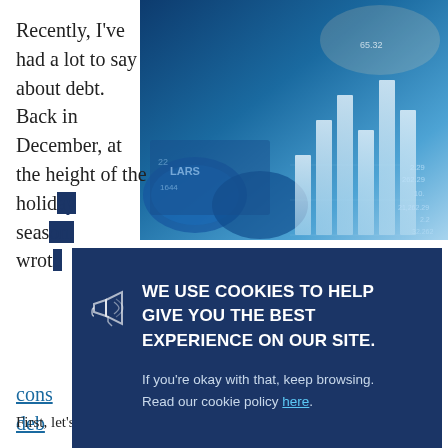Recently, I've had a lot to say about debt. Back in December, at the height of the holiday season, I wrote about cons[uming] debt[...] s the d disc[overed] [...] w a prob[lem] beco[me] [...] e to five [...] y— corp[orate...]
[Figure (photo): Financial/investment themed photo showing coins, bar charts, and numerical data overlaid with a blue tint — stock market imagery]
WE USE COOKIES TO HELP GIVE YOU THE BEST EXPERIENCE ON OUR SITE.

If you're okay with that, keep browsing. Read our cookie policy here.
Deb[t]
First, let's look at the amount of debt. As usual, we have to